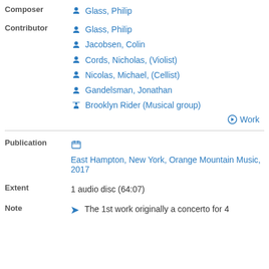Composer
Glass, Philip
Contributor
Glass, Philip
Jacobsen, Colin
Cords, Nicholas, (Violist)
Nicolas, Michael, (Cellist)
Gandelsman, Jonathan
Brooklyn Rider (Musical group)
Work
Publication
East Hampton, New York, Orange Mountain Music, 2017
Extent
1 audio disc (64:07)
Note
The 1st work originally a concerto for 4